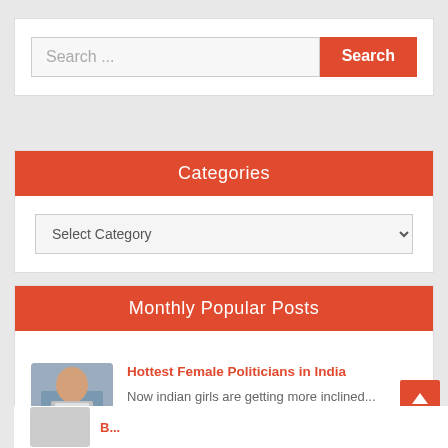Search ...
Search
Categories
Select Category
Monthly Popular Posts
Hottest Female Politicians in India
Now indian girls are getting more inclined...
(1,121)